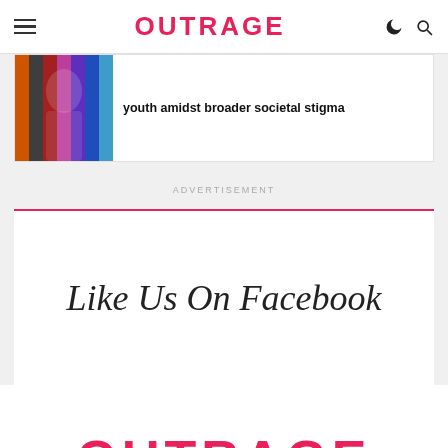OUTRAGE
[Figure (screenshot): Article card with colorful fabric thumbnail image and headline text: 'youth amidst broader societal stigma']
youth amidst broader societal stigma
ADVERTISEMENT
Like Us On Facebook
[Figure (infographic): Social media icons row: Facebook, Twitter, Instagram, YouTube — each in a circle outline]
OUTRAGE